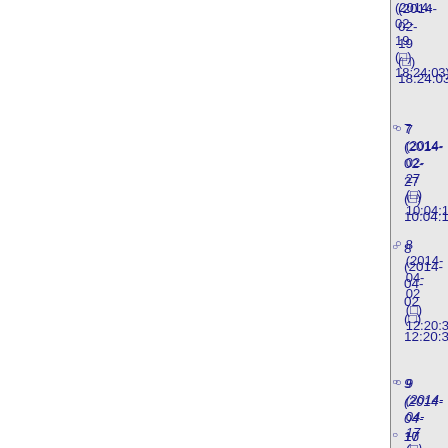7 (2014-02-27 (□) 10:04:18)
8 (2014-04-02 (□) 12:20:39)
9 (2014-04-17 (□) 09:04:05)
10 (2014-